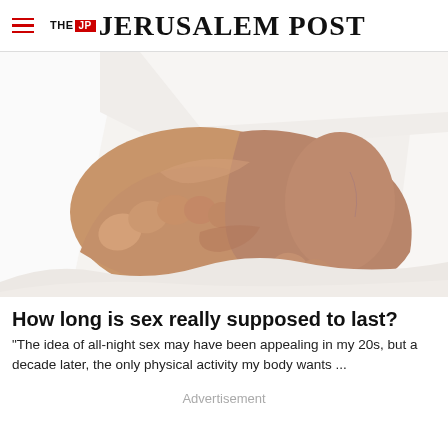THE JERUSALEM POST
[Figure (photo): Two pairs of bare feet intertwined under white bed sheets]
How long is sex really supposed to last?
"The idea of all-night sex may have been appealing in my 20s, but a decade later, the only physical activity my body wants ...
Advertisement